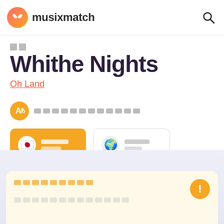musixmatch
歌詞
Whithe Nights
Oh Land
翻訳テキストブロック（日本語翻訳へのリンク）
日本語 / オリジナル言語
著作権に関する警告メッセージ